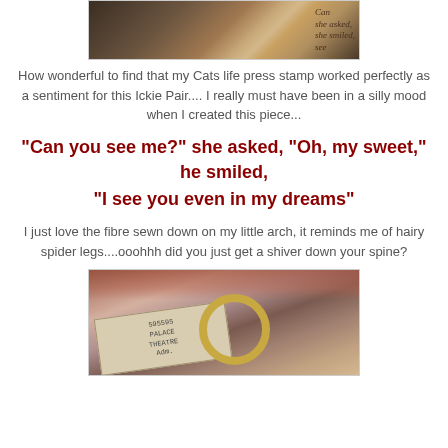[Figure (photo): Close-up photo of a press stamp with handwritten-style text showing 'Can', 'she asked', 'she smiled', 'see' on what appears to be a craft/art project surface]
How wonderful to find that my Cats life press stamp worked perfectly as a sentiment for this Ickie Pair.... I really must have been in a silly mood when I created this piece...
"Can you see me?" she asked, "Oh, my sweet," he smiled,
"I see you even in my dreams"
I just love the fibre sewn down on my little arch, it reminds me of hairy spider legs....ooohhh did you just get a shiver down your spine?
[Figure (photo): Close-up photo of a Palace Theatre ticket and a brass ring/eyelet on a textured reddish background with fibres]